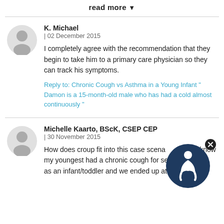read more ▾
K. Michael
| 02 December 2015

I completely agree with the recommendation that they begin to take him to a primary care physician so they can track his symptoms.

Reply to: Chronic Cough vs Asthma in a Young Infant " Damon is a 15-month-old male who has had a cold almost continuously "
Michelle Kaarto, BScK, CSEP CEP
| 30 November 2015

How does croup fit into this case scenario at all? I know my youngest had a chronic cough for several months as an infant/toddler and we ended up at the